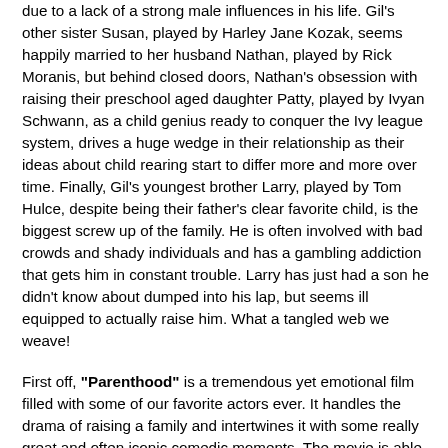due to a lack of a strong male influences in his life. Gil's other sister Susan, played by Harley Jane Kozak, seems happily married to her husband Nathan, played by Rick Moranis, but behind closed doors, Nathan's obsession with raising their preschool aged daughter Patty, played by Ivyan Schwann, as a child genius ready to conquer the Ivy league system, drives a huge wedge in their relationship as their ideas about child rearing start to differ more and more over time. Finally, Gil's youngest brother Larry, played by Tom Hulce, despite being their father's clear favorite child, is the biggest screw up of the family. He is often involved with bad crowds and shady individuals and has a gambling addiction that gets him in constant trouble. Larry has just had a son he didn't know about dumped into his lap, but seems ill equipped to actually raise him. What a tangled web we weave!
First off, "Parenthood" is a tremendous yet emotional film filled with some of our favorite actors ever. It handles the drama of raising a family and intertwines it with some really great and often iconic comedic moments. The movie is able to take the audience on a roller coaster ride of emotions from